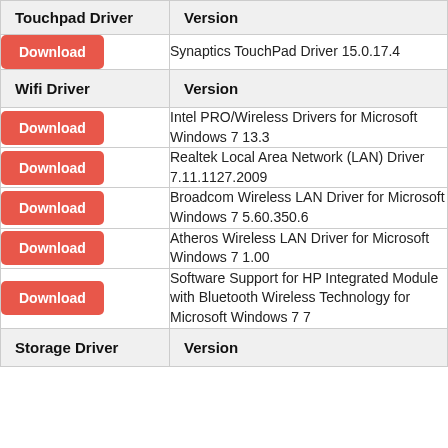| Touchpad Driver | Version |
| --- | --- |
| Download | Synaptics TouchPad Driver 15.0.17.4 |
| Wifi Driver | Version |
| Download | Intel PRO/Wireless Drivers for Microsoft Windows 7 13.3 |
| Download | Realtek Local Area Network (LAN) Driver 7.11.1127.2009 |
| Download | Broadcom Wireless LAN Driver for Microsoft Windows 7 5.60.350.6 |
| Download | Atheros Wireless LAN Driver for Microsoft Windows 7 1.00 |
| Download | Software Support for HP Integrated Module with Bluetooth Wireless Technology for Microsoft Windows 7 7 |
| Storage Driver | Version |